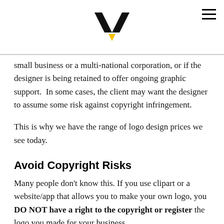[Logo: W/V geometric mark with yellow triangle] [Hamburger menu icon]
small business or a multi-national corporation, or if the designer is being retained to offer ongoing graphic support.  In some cases, the client may want the designer to assume some risk against copyright infringement.
This is why we have the range of logo design prices we see today.
Avoid Copyright Risks
Many people don't know this. If you use clipart or a website/app that allows you to make your own logo, you DO NOT have a right to the copyright or register the logo you made for your business.